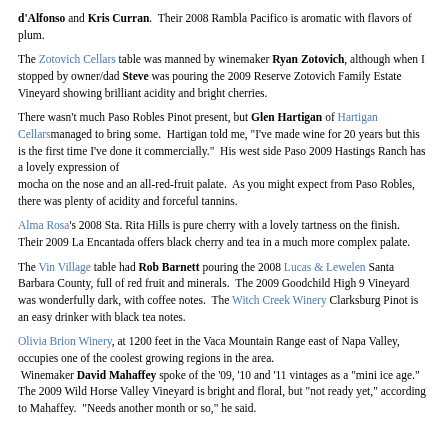d'Alfonso and Kris Curran.  Their 2008 Rambla Pacifico is aromatic with flavors of plum.
The Zotovich Cellars table was manned by winemaker Ryan Zotovich, although when I stopped by owner/dad Steve was pouring the 2009 Reserve Zotovich Family Estate Vineyard showing brilliant acidity and bright cherries.
There wasn't much Paso Robles Pinot present, but Glen Hartigan of Hartigan Cellarsmanaged to bring some.  Hartigan told me, "I've made wine for 20 years but this is the first time I've done it commercially."  His west side Paso 2009 Hastings Ranch has a lovely expression of mocha on the nose and an all-red-fruit palate.  As you might expect from Paso Robles, there was plenty of acidity and forceful tannins.
Alma Rosa's 2008 Sta. Rita Hills is pure cherry with a lovely tartness on the finish.  Their 2009 La Encantada offers black cherry and tea in a much more complex palate.
The Vin Village table had Rob Barnett pouring the 2008 Lucas & Lewelen Santa Barbara County, full of red fruit and minerals.  The 2009 Goodchild High 9 Vineyard was wonderfully dark, with coffee notes.  The Witch Creek Winery Clarksburg Pinot is an easy drinker with black tea notes.
Olivia Brion Winery, at 1200 feet in the Vaca Mountain Range east of Napa Valley, occupies one of the coolest growing regions in the area.  Winemaker David Mahaffey spoke of the '09, '10 and '11 vintages as a "mini ice age."  The 2009 Wild Horse Valley Vineyard is bright and floral, but "not ready yet," according to Mahaffey.  "Needs another month or so," he said.